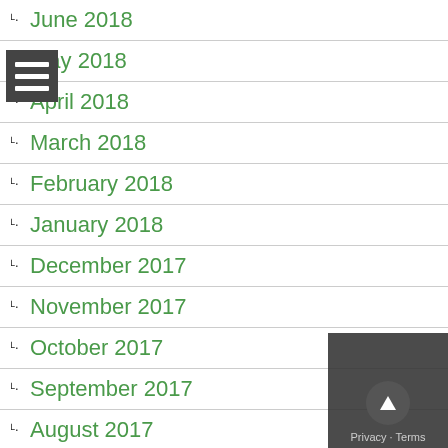June 2018
May 2018
April 2018
March 2018
February 2018
January 2018
December 2017
November 2017
October 2017
September 2017
August 2017
July 2017
June 2017
May 2017
April 2017
March 2017
February 2017
January 2017
December 2016
November 2016
October 2016
September 2016